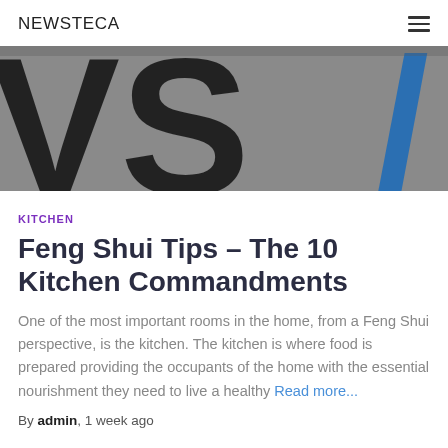NEWSTECA
[Figure (photo): Blurred close-up image showing large letters 'VS' in dark/black on a grey background with blue text partially visible on the right edge.]
KITCHEN
Feng Shui Tips – The 10 Kitchen Commandments
One of the most important rooms in the home, from a Feng Shui perspective, is the kitchen. The kitchen is where food is prepared providing the occupants of the home with the essential nourishment they need to live a healthy Read more…
By admin, 1 week ago